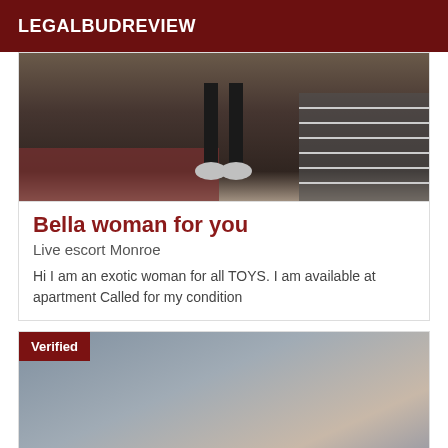LEGALBUDREVIEW
[Figure (photo): Top portion of a person's legs and feet wearing sneakers, standing near stairs or an escalator]
Bella woman for you
Live escort Monroe
Hi I am an exotic woman for all TOYS. I am available at apartment Called for my condition
[Figure (photo): Photo of a person with a Verified badge overlay in the top-left corner]